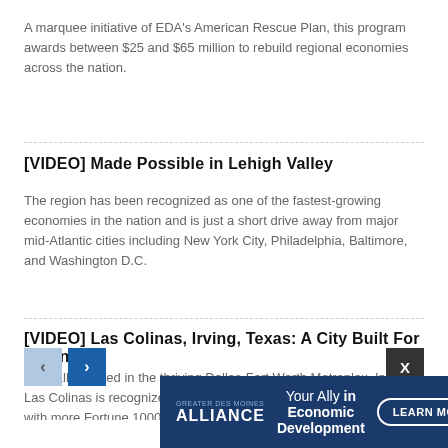A marquee initiative of EDA's American Rescue Plan, this program awards between $25 and $65 million to rebuild regional economies across the nation.
[VIDEO] Made Possible in Lehigh Valley
The region has been recognized as one of the fastest-growing economies in the nation and is just a short drive away from major mid-Atlantic cities including New York City, Philadelphia, Baltimore, and Washington D.C.
[VIDEO] Las Colinas, Irving, Texas: A City Built For Business
Centrally located in the thriving Dallas-Fort Worth Metroplex, Irving-Las Colinas is recognized as the “Headquarters of Headquarters,” with more Fortune 1000 global headquarters per capita than any other city in Texas.
[Figure (screenshot): Navigation arrows (previous/next) and close button X, with Alliance Economic Development ad banner at bottom]